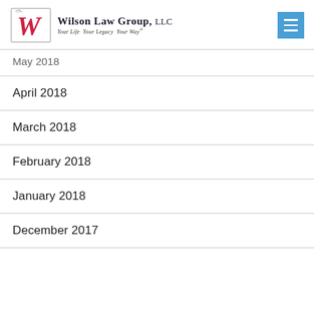Wilson Law Group, LLC — Your Life. Your Legacy. Your Way.
May 2018
April 2018
March 2018
February 2018
January 2018
December 2017